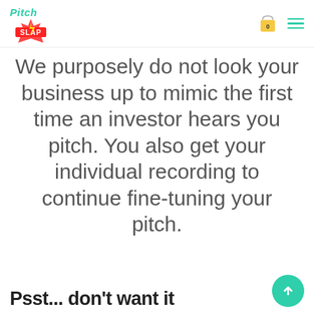Pitch Slap
We purposely do not look your business up to mimic the first time an investor hears you pitch. You also get your individual recording to continue fine-tuning your pitch.
Psst... don't want it